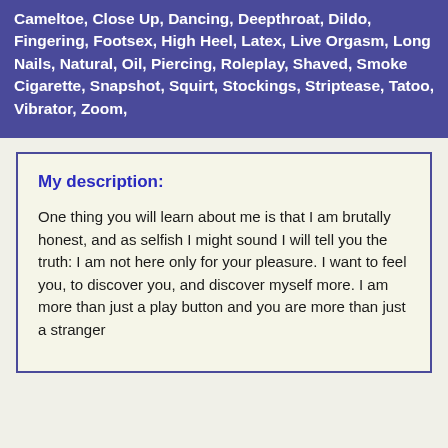Cameltoe, Close Up, Dancing, Deepthroat, Dildo, Fingering, Footsex, High Heel, Latex, Live Orgasm, Long Nails, Natural, Oil, Piercing, Roleplay, Shaved, Smoke Cigarette, Snapshot, Squirt, Stockings, Striptease, Tatoo, Vibrator, Zoom,
My description:
One thing you will learn about me is that I am brutally honest, and as selfish I might sound I will tell you the truth: I am not here only for your pleasure. I want to feel you, to discover you, and discover myself more. I am more than just a play button and you are more than just a stranger